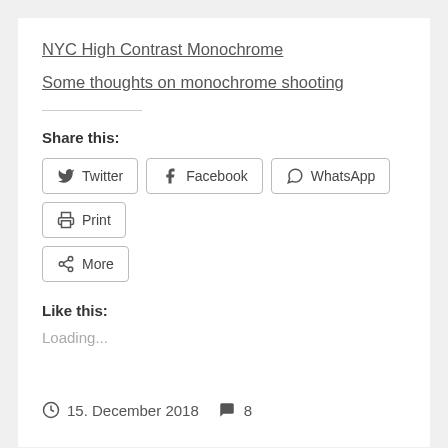NYC High Contrast Monochrome
Some thoughts on monochrome shooting
Share this:
Twitter  Facebook  WhatsApp  Print  More
Like this:
Loading...
15. December 2018   8
Smoke and Fire